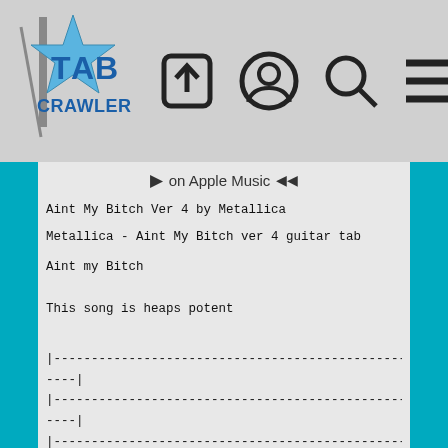[Figure (logo): Tab Crawler logo with star graphic and text TAB CRAWLER]
Tab Crawler website header with navigation icons: upload, user, search, menu
on Apple Music
Aint My Bitch Ver 4 by Metallica
Metallica - Aint My Bitch ver 4 guitar tab
Aint my Bitch

This song is heaps potent
|--------------------------------------------------------------------|
|--------------------------------------------------------------------|
|--------------------------------------------------------------------|
|-------------------------------5^----------------------------------